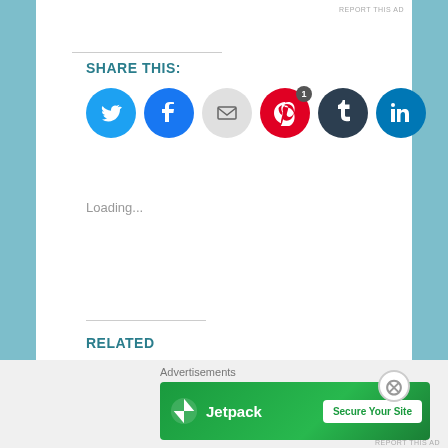REPORT THIS AD
SHARE THIS:
[Figure (infographic): Social share buttons: Twitter (blue), Facebook (blue), Email (grey), Pinterest (red, badge 1), Tumblr (dark navy), LinkedIn (blue)]
Loading...
RELATED
Saudade in literature and
Bilingual siblings and their
Advertisements
[Figure (screenshot): Jetpack advertisement banner with logo and 'Secure Your Site' button on green background]